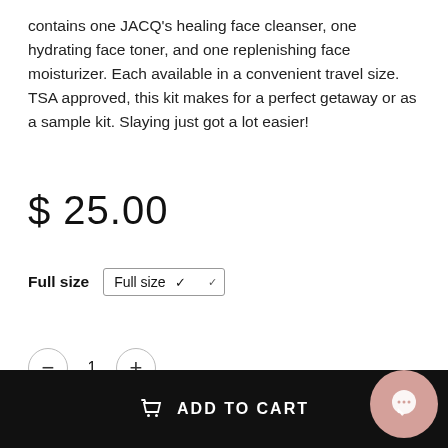contains one JACQ's healing face cleanser, one hydrating face toner, and one replenishing face moisturizer. Each available in a convenient travel size. TSA approved, this kit makes for a perfect getaway or as a sample kit. Slaying just got a lot easier!
$ 25.00
Full size  Full size ▾
— 1 +
ADD TO CART